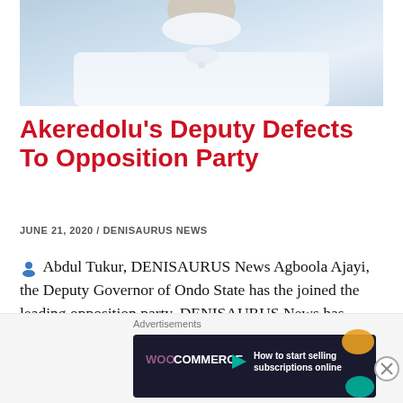[Figure (photo): Photo of a person wearing a white traditional garment, cropped to show lower face/neck and upper torso area]
Akeredolu’s Deputy Defects To Opposition Party
JUNE 21, 2020 / DENISAURUS NEWS
Abdul Tukur, DENISAURUS News Agboola Ajayi, the Deputy Governor of Ondo State has the joined the leading opposition party, DENISAURUS News has learned. Mr Ajayi, who was elected alongside Governor Rotimi Akeredolu in 2016, on the platform of the All Progressives ... Continue reading
[Figure (screenshot): WooCommerce advertisement banner: dark background with WooCommerce logo and teal arrow, text reading 'How to start selling subscriptions online', with orange and teal decorative elements]